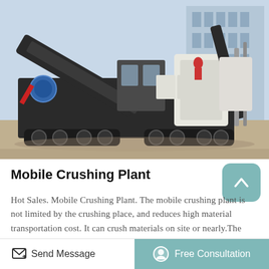[Figure (photo): A large mobile crushing plant machine on tracks, photographed outdoors with a multi-story building in the background. The machine has a yellow/black and white color scheme with a conveyor belt arm and cabin.]
Mobile Crushing Plant
Hot Sales. Mobile Crushing Plant. The mobile crushing plant is not limited by the crushing place, and reduces high material transportation cost. It can crush materials on site or nearly.The Mobile Crusher Plant is widely used to match the crushing and sieving equipments in many